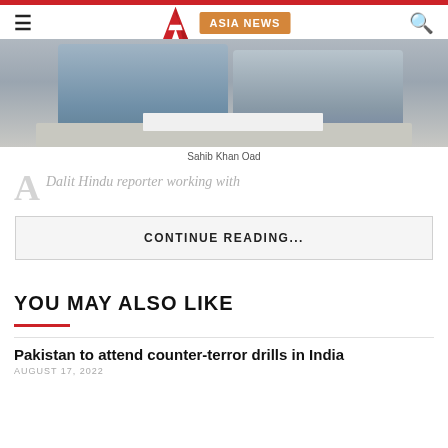≡  A  ASIA NEWS  🔍
[Figure (photo): Two men seated at a table, one in a blue shirt on the left and one in a striped shirt on the right, with papers on the table between them.]
Sahib Khan Oad
Dalit Hindu reporter working with
CONTINUE READING...
YOU MAY ALSO LIKE
Pakistan to attend counter-terror drills in India
AUGUST 17, 2022